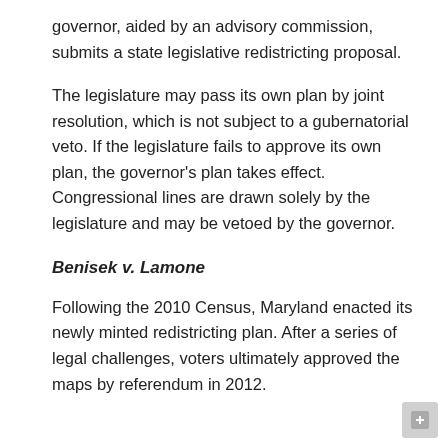governor, aided by an advisory commission, submits a state legislative redistricting proposal.
The legislature may pass its own plan by joint resolution, which is not subject to a gubernatorial veto. If the legislature fails to approve its own plan, the governor's plan takes effect. Congressional lines are drawn solely by the legislature and may be vetoed by the governor.
Benisek v. Lamone
Following the 2010 Census, Maryland enacted its newly minted redistricting plan. After a series of legal challenges, voters ultimately approved the maps by referendum in 2012.